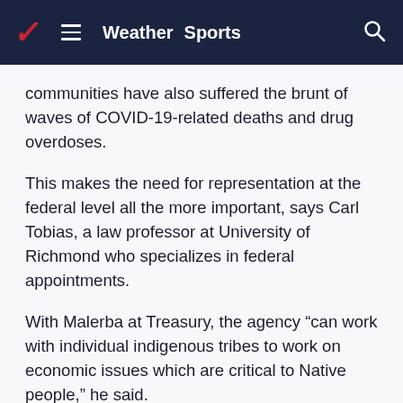Weather  Sports
communities have also suffered the brunt of waves of COVID-19-related deaths and drug overdoses.
This makes the need for representation at the federal level all the more important, says Carl Tobias, a law professor at University of Richmond who specializes in federal appointments.
With Malerba at Treasury, the agency “can work with individual indigenous tribes to work on economic issues which are critical to Native people,” he said.
ADVERTISEMENT